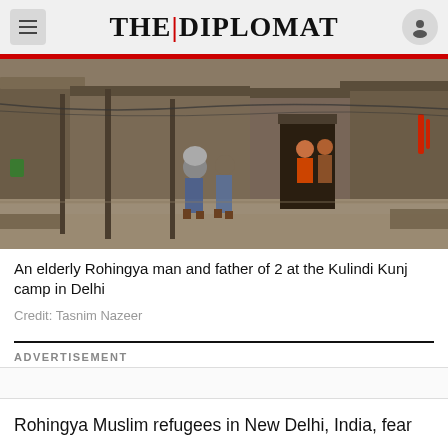THE|DIPLOMAT
[Figure (photo): A flooded alleyway in a makeshift camp with two people walking through muddy water; a child and adult visible in a doorway of a crude structure; debris and shelters in background.]
An elderly Rohingya man and father of 2 at the Kulindi Kunj camp in Delhi
Credit: Tasnim Nazeer
ADVERTISEMENT
Rohingya Muslim refugees in New Delhi, India, fear